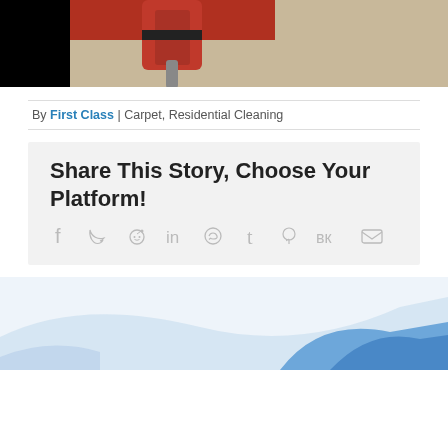[Figure (photo): Top portion of a photo showing a red carpet cleaning machine/vacuum on carpet, black bars on left and right sides]
By First Class | Carpet, Residential Cleaning
Share This Story, Choose Your Platform!
[Figure (infographic): Row of social media share icons: Facebook, Twitter, Reddit, LinkedIn, WhatsApp, Tumblr, Pinterest, VK, Email]
[Figure (illustration): Bottom partial image showing blue wave/swoosh graphic on white/light background]